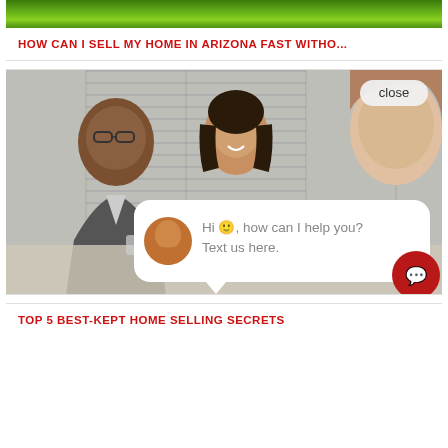[Figure (photo): Green grass / outdoor photo strip at top of card]
HOW CAN I SELL MY HOME IN ARIZONA FAST WITHO...
[Figure (photo): Three people smiling and discussing at a table: man with glasses in suit on left, woman with dark hair in center, man on right seen from behind. A chat widget overlay shows 'close' button, avatar of woman, and text: Hi, how can I help you? Text us here. A red chat icon button is in bottom right corner.]
TOP 5 BEST-KEPT HOME SELLING SECRETS